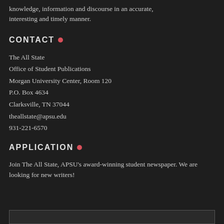knowledge, information and discourse in an accurate, interesting and timely manner.
CONTACT
The All State
Office of Student Publications
Morgan University Center, Room 120
P.O. Box 4634
Clarksville, TN 37044
theallstate@apsu.edu
931-221-6570
APPLICATION
Join The All State, APSU's award-winning student newspaper. We are looking for new writers!